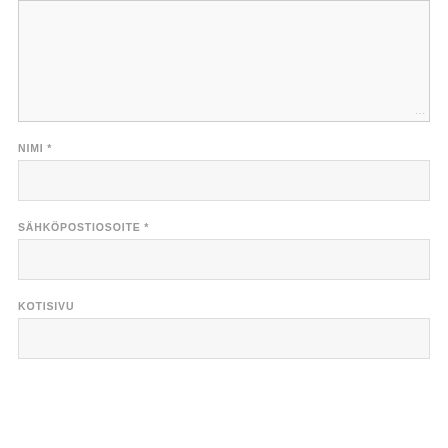[Figure (screenshot): A web form with a large textarea (partially visible at top with resize handle), followed by labeled input fields: NIMI (Name) with asterisk, SÄHKÖPOSTIOSOITE (Email) with asterisk, and KOTISIVU (Website), each with a text input box.]
NIMI *
SÄHKÖPOSTIOSOITE *
KOTISIVU